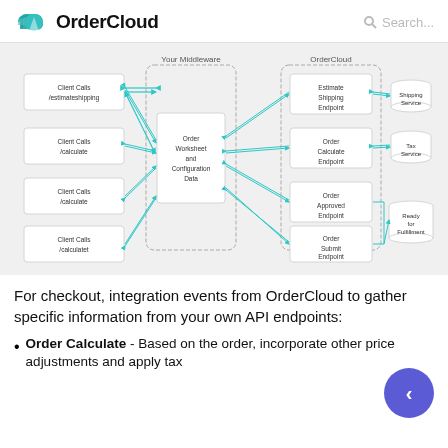OrderCloud  Search...
[Figure (flowchart): Integration events flowchart showing Client Calls (/estimateshipping, /calculate, /calculate, /calculatet) on the left connecting via bidirectional arrows to Order Worksheet and Configuration Data in the middle (Your Middleware section), which connects via bidirectional arrows to four OrderCloud endpoints: Estimate Shipping Endpoint, Order Calculate Endpoint, Order Approved Endpoint, Order Submit Endpoint. On the far right: Shipping Service (cylinder) connects to Estimate Shipping Endpoint, Tax Service (cylinder) connects to Order Calculate Endpoint, and Ready for Fulfillment (cylinder) connects to both Order Approved and Order Submit Endpoints.]
For checkout, integration events from OrderCloud to gather specific information from your own API endpoints:
Order Calculate - Based on the order, incorporate other price adjustments and apply tax